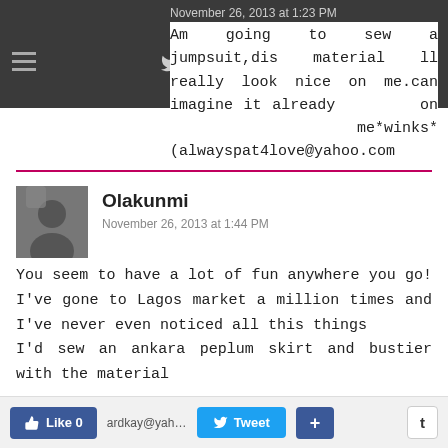November 26, 2013 at 1:23 PM
Am going to sew a jumpsuit,dis material ll really look nice on me.can imagine it already on me*winks* (alwayspat4love@yahoo.com
Reply
Olakunmi
November 26, 2013 at 1:44 PM
You seem to have a lot of fun anywhere you go! I've gone to Lagos market a million times and I've never even noticed all this things
I'd sew an ankara peplum skirt and bustier with the material
Like 0  Tweet  +  t